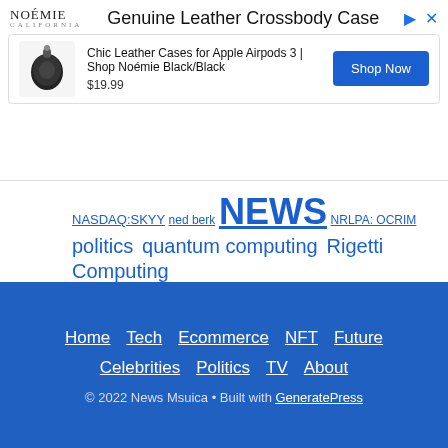[Figure (screenshot): Advertisement banner for Noémie Genuine Leather Crossbody Case showing product image, title, price $19.99, and Shop Now button]
NASDAQ:SKYY ned berk NEWS NRLPA: OCRIM politics quantum computing Rigetti Computing robert lapidus silverstein properties steve coutts stock market today Technology tess jones USAMA WOM Worcester 뉴스 추천
Home Tech Ecommerce NFT Future Celebrities Politics TV About © 2022 News Msuica • Built with GeneratePress